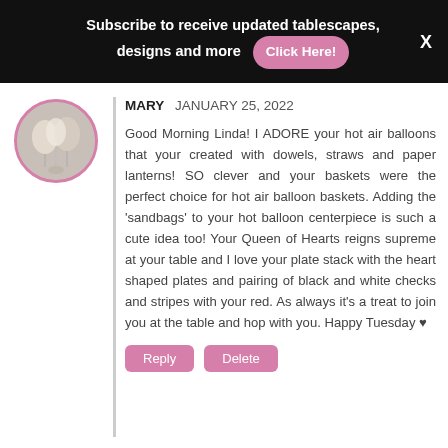Subscribe to receive updated tablescapes, designs and more  Click Here!  X
[Figure (photo): Circular avatar photo with pink border showing decorative balloons or floral arrangement]
MARY  JANUARY 25, 2022

Good Morning Linda! I ADORE your hot air balloons that your created with dowels, straws and paper lanterns! SO clever and your baskets were the perfect choice for hot air balloon baskets. Adding the 'sandbags' to your hot balloon centerpiece is such a cute idea too! Your Queen of Hearts reigns supreme at your table and I love your plate stack with the heart shaped plates and pairing of black and white checks and stripes with your red. As always it's a treat to join you at the table and hop with you. Happy Tuesday ♥
Reply  Delete